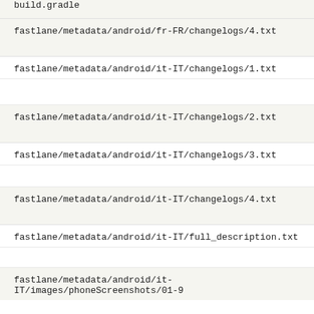build.gradle
fastlane/metadata/android/fr-FR/changelogs/4.txt
fastlane/metadata/android/it-IT/changelogs/1.txt
fastlane/metadata/android/it-IT/changelogs/2.txt
fastlane/metadata/android/it-IT/changelogs/3.txt
fastlane/metadata/android/it-IT/changelogs/4.txt
fastlane/metadata/android/it-IT/full_description.txt
fastlane/metadata/android/it-IT/images/phoneScreenshots/01-9